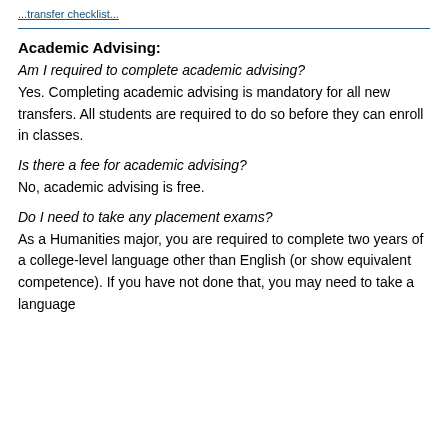...transfer checklist...
Academic Advising:
Am I required to complete academic advising?
Yes. Completing academic advising is mandatory for all new transfers. All students are required to do so before they can enroll in classes.
Is there a fee for academic advising?
No, academic advising is free.
Do I need to take any placement exams?
As a Humanities major, you are required to complete two years of a college-level language other than English (or show equivalent competence). If you have not done that, you may need to take a language